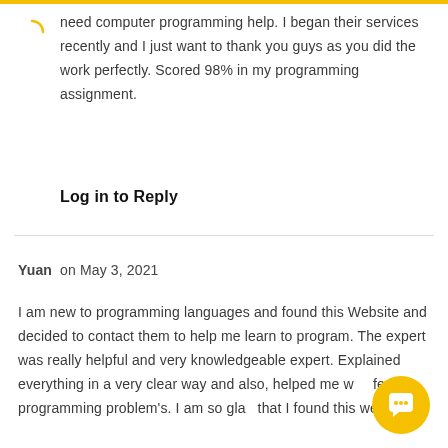need computer programming help. I began their services recently and I just want to thank you guys as you did the work perfectly. Scored 98% in my programming assignment.
Log in to Reply
Yuan on May 3, 2021
I am new to programming languages and found this Website and decided to contact them to help me learn to program. The expert was really helpful and very knowledgeable expert. Explained everything in a very clear way and also, helped me with few programming problem's. I am so glad that I found this website.